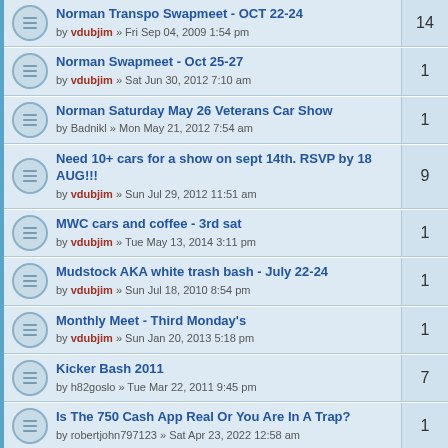Norman Transpo Swapmeet - OCT 22-24 by vdubjim » Fri Sep 04, 2009 1:54 pm | 14
Norman Swapmeet - Oct 25-27 by vdubjim » Sat Jun 30, 2012 7:10 am | 1
Norman Saturday May 26 Veterans Car Show by Badnikl » Mon May 21, 2012 7:54 am | 1
Need 10+ cars for a show on sept 14th. RSVP by 18 AUG!!! by vdubjim » Sun Jul 29, 2012 11:51 am | 9
MWC cars and coffee - 3rd sat by vdubjim » Tue May 13, 2014 3:11 pm | 1
Mudstock AKA white trash bash - July 22-24 by vdubjim » Sun Jul 18, 2010 8:54 pm | 1
Monthly Meet - Third Monday's by vdubjim » Sun Jan 20, 2013 5:18 pm | 1
Kicker Bash 2011 by h82goslo » Tue Mar 22, 2011 9:45 pm | 7
Is The 750 Cash App Real Or You Are In A Trap? by robertjohn797123 » Sat Apr 23, 2022 12:58 am | 1
Indoor plants online by algo03 » Sun Jul 17, 2022 5:12 pm | 1
How do I wake up my Kindle?